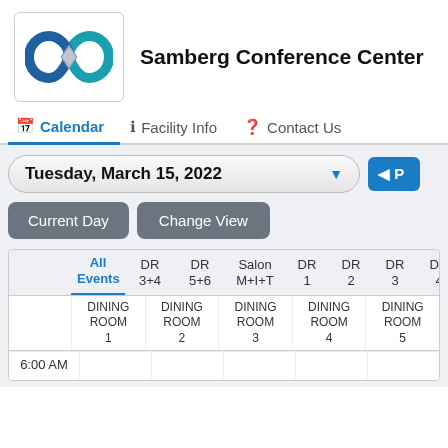[Figure (logo): Samberg Conference Center logo — stylized teal/blue infinity loop with a silver diamond shape in the center]
Samberg Conference Center
Calendar | Facility Info | Contact Us
Tuesday, March 15, 2022
Current Day | Change View
| All Events | DR 3+4 | DR 5+6 | Salon M+I+T | DR 1 | DR 2 | DR 3 | DR 4 | D 5 |
| --- | --- | --- | --- | --- | --- | --- | --- | --- |
| DINING ROOM 1 | DINING ROOM 2 | DINING ROOM 3 | DINING ROOM 4 | DINING ROOM 5 |  |
| 6:00 AM |  |  |  |  |  |
6:00 AM